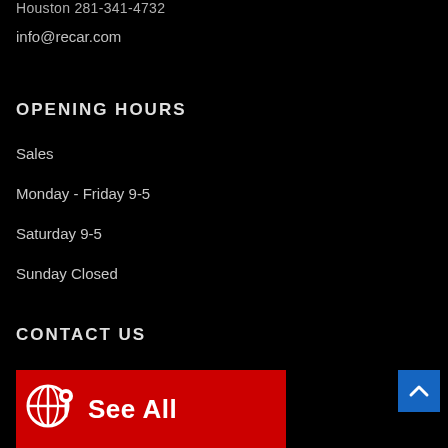Houston 281-341-4732
info@recar.com
OPENING HOURS
Sales
Monday - Friday 9-5
Saturday 9-5
Sunday Closed
CONTACT US
[Figure (infographic): Red banner with globe/location pin icon and text 'See All']
[Figure (other): Blue scroll-to-top button with upward chevron arrow]